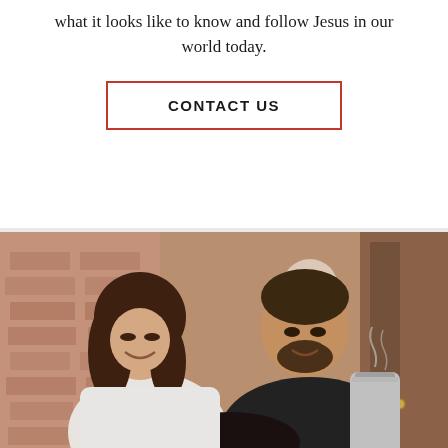what it looks like to know and follow Jesus in our world today.
CONTACT US
[Figure (photo): A smiling woman in a white shirt and a smiling man in a black t-shirt looking down together, with the man pouring from a steel container, set in a warmly lit brick-wall interior.]